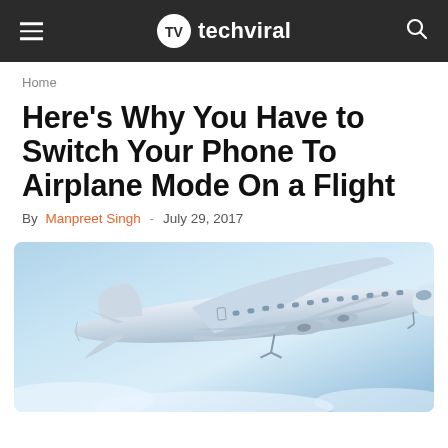techviral
Home
Here's Why You Have to Switch Your Phone To Airplane Mode On a Flight
By Manpreet Singh - July 29, 2017
[Figure (photo): A white commercial airplane flying in a blue sky above clouds, viewed from below and side angle.]